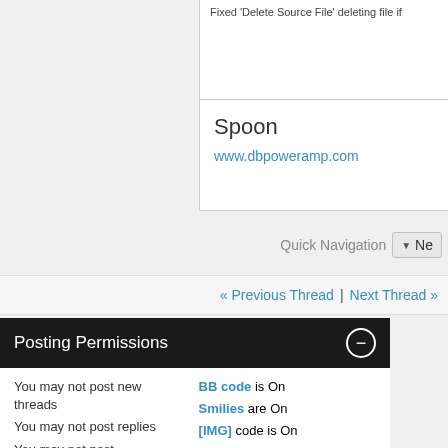Fixed 'Delete Source File' deleting file if
Spoon
www.dbpoweramp.com
Quick Navigation
« Previous Thread | Next Thread »
Posting Permissions
You may not post new threads
You may not post replies
You may not post attachments
BB code is On
Smilies are On
[IMG] code is On
[VIDEO] code is On